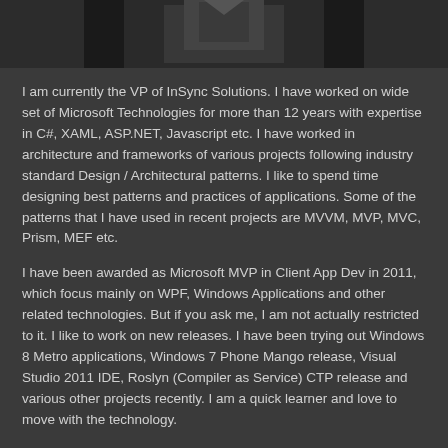[Figure (photo): Partial photo of a person, cropped at the top of the page, dark background]
I am currently the VP of InSync Solutions. I have worked on wide set of Microsoft Technologies for more than 12 years with expertise in C#, XAML, ASP.NET, Javascript etc. I have worked in architecture and frameworks of various projects following industry standard Design / Architectural patterns. I like to spend time designing best patterns and practices of applications. Some of the patterns that I have used in recent projects are MVVM, MVP, MVC, Prism, MEF etc.
I have been awarded as Microsoft MVP in Client App Dev in 2011, which focus mainly on WPF, Windows Applications and other related technologies. But if you ask me, I am not actually restricted to it. I like to work on new releases. I have been trying out Windows 8 Metro applications, Windows 7 Phone Mango release, Visual Studio 2011 IDE, Roslyn (Compiler as Service) CTP release and various other projects recently. I am a quick learner and love to move with the technology.